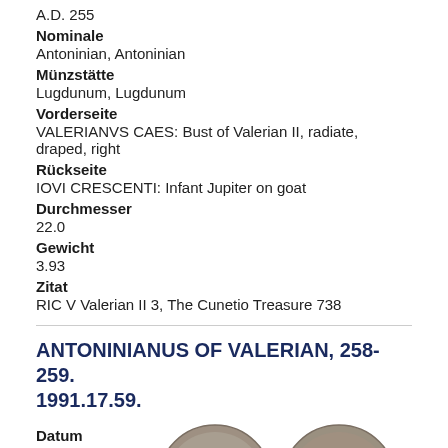A.D. 255
Nominale
Antoninian, Antoninian
Münzstätte
Lugdunum, Lugdunum
Vorderseite
VALERIANVS CAES: Bust of Valerian II, radiate, draped, right
Rückseite
IOVI CRESCENTI: Infant Jupiter on goat
Durchmesser
22.0
Gewicht
3.93
Zitat
RIC V Valerian II 3, The Cunetio Treasure 738
ANTONINIANUS OF VALERIAN, 258-259. 1991.17.59.
Datum
A.D. 258 - A.D. 259
[Figure (photo): Two ancient Roman silver coins (antoniniani), shown obverse and reverse, with portrait and reverse design visible.]